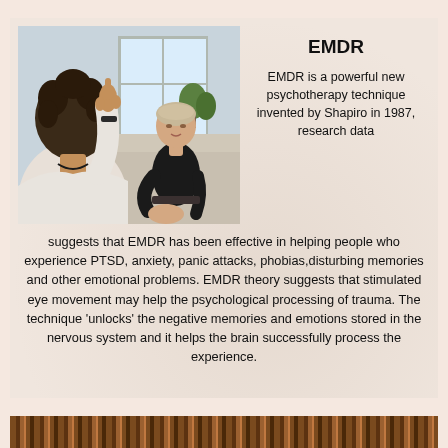[Figure (photo): Two people in a therapy session. One person (seen from behind, curly hair, white top) holds up their hand/finger. The other person (woman in black top, light hair pulled back) sits facing the camera in a bright room with plants and a window in background.]
EMDR
EMDR is a powerful new psychotherapy technique invented by Shapiro in 1987, research data suggests that EMDR has been effective in helping people who experience PTSD, anxiety, panic attacks, phobias,disturbing memories and other emotional problems. EMDR theory suggests that stimulated eye movement may help the psychological processing of trauma. The technique 'unlocks' the negative memories and emotions stored in the nervous system and it helps the brain successfully process the experience.